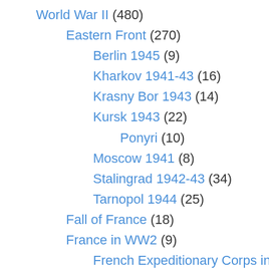World War II (480)
Eastern Front (270)
Berlin 1945 (9)
Kharkov 1941-43 (16)
Krasny Bor 1943 (14)
Kursk 1943 (22)
Ponyri (10)
Moscow 1941 (8)
Stalingrad 1942-43 (34)
Tarnopol 1944 (25)
Fall of France (18)
France in WW2 (9)
French Expeditionary Corps in Italy (8)